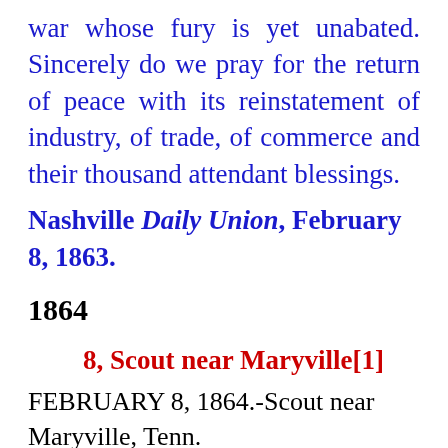war whose fury is yet unabated. Sincerely do we pray for the return of peace with its reinstatement of industry, of trade, of commerce and their thousand attendant blessings.
Nashville Daily Union, February 8, 1863.
1864
8, Scout near Maryville[1]
FEBRUARY 8, 1864.-Scout near Maryville, Tenn.